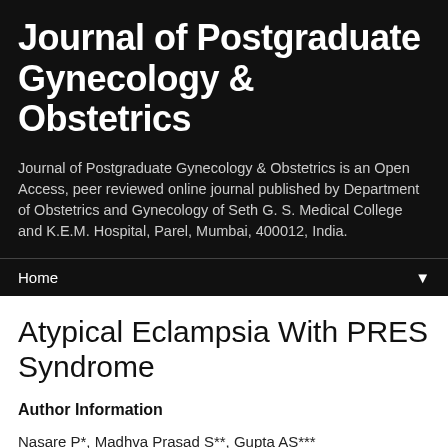Journal of Postgraduate Gynecology & Obstetrics
Journal of Postgraduate Gynecology & Obstetrics is an Open Access, peer reviewed online journal published by Department of Obstetrics and Gynecology of Seth G. S. Medical College and K.E.M. Hospital, Parel, Mumbai, 400012, India.
Home ▼
Atypical Eclampsia With PRES Syndrome
Author Information
Nasare P*, Madhva Prasad S**, Gupta AS***